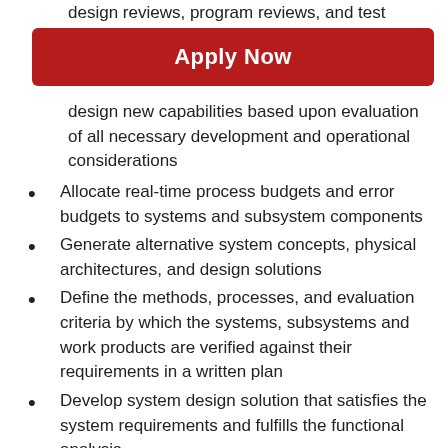design reviews, program reviews, and test reviews
Apply Now
design new capabilities based upon evaluation of all necessary development and operational considerations
Allocate real-time process budgets and error budgets to systems and subsystem components
Generate alternative system concepts, physical architectures, and design solutions
Define the methods, processes, and evaluation criteria by which the systems, subsystems and work products are verified against their requirements in a written plan
Develop system design solution that satisfies the system requirements and fulfills the functional analysis
Review and provide input to program and contract work breakdown structure (WBS), work packages